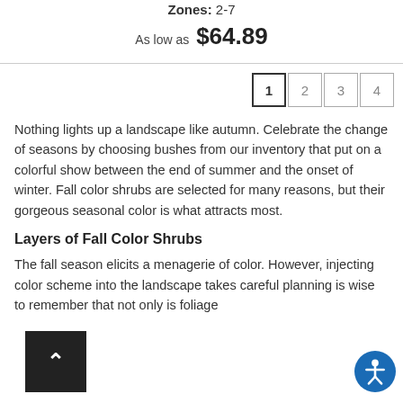Zones: 2-7
As low as $64.89
1 2 3 4
Nothing lights up a landscape like autumn. Celebrate the change of seasons by choosing bushes from our inventory that put on a colorful show between the end of summer and the onset of winter. Fall color shrubs are selected for many reasons, but their gorgeous seasonal color is what attracts most.
Layers of Fall Color Shrubs
The fall season elicits a menagerie of color. However, injecting color scheme into the landscape takes careful planning is wise to remember that not only is foliage